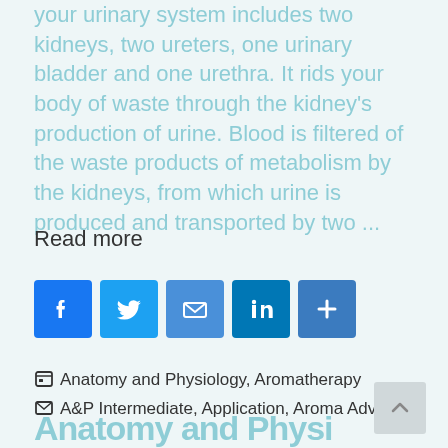your urinary system includes two kidneys, two ureters, one urinary bladder and one urethra. It rids your body of waste through the kidney's production of urine. Blood is filtered of the waste products of metabolism by the kidneys, from which urine is produced and transported by two ...
Read more
[Figure (other): Social media sharing icons: Facebook, Twitter, Email, LinkedIn, Share (plus)]
Anatomy and Physiology, Aromatherapy
A&P Intermediate, Application, Aroma Advanced
Anatomy and Physi...